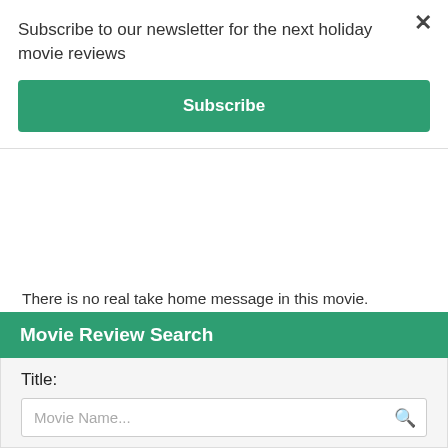Subscribe to our newsletter for the next holiday movie reviews
Subscribe
There is no real take home message in this movie.
Values parents may wish to encourage include:
don't be afraid to be yourself.
Values parents may wish to discourage include:
violence as a way to solve conflict
irresponsible behaviour is cool and funny
sniffing aerosol cans is fun.
Movie Review Search
Title:
Movie Name...